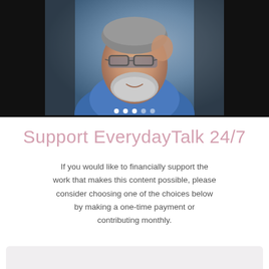[Figure (photo): An older man in a blue polo shirt holding his glasses and looking at the camera, with a gray background. Slideshow navigation dots visible at the bottom of the image.]
Support EverydayTalk 24/7
If you would like to financially support the work that makes this content possible, please consider choosing one of the choices below by making a one-time payment or contributing monthly.